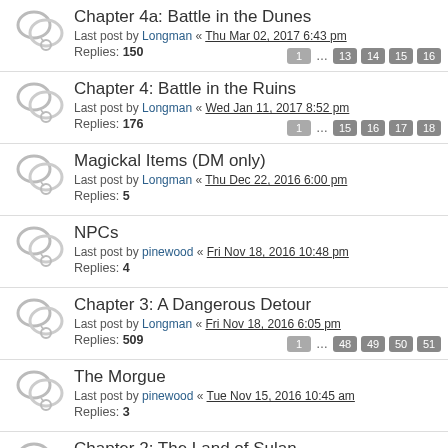Chapter 4a: Battle in the Dunes
Last post by Longman « Thu Mar 02, 2017 6:43 pm
Replies: 150
Pages: 1 ... 13 14 15 16
Chapter 4: Battle in the Ruins
Last post by Longman « Wed Jan 11, 2017 8:52 pm
Replies: 176
Pages: 1 ... 15 16 17 18
Magickal Items (DM only)
Last post by Longman « Thu Dec 22, 2016 6:00 pm
Replies: 5
NPCs
Last post by pinewood « Fri Nov 18, 2016 10:48 pm
Replies: 4
Chapter 3: A Dangerous Detour
Last post by Longman « Fri Nov 18, 2016 6:05 pm
Replies: 509
Pages: 1 ... 48 49 50 51
The Morgue
Last post by pinewood « Tue Nov 15, 2016 10:45 am
Replies: 3
Chapter 2: The Land of Sulan
Last post by Longman « Sun Apr 10, 2016 12:08 am
Replies: 524
Pages: 1 ... 50 51 52 53